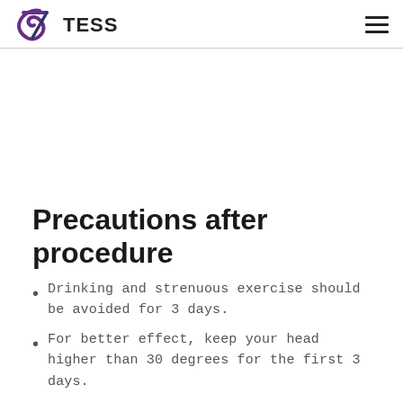TESS
Precautions after procedure
Drinking and strenuous exercise should be avoided for 3 days.
For better effect, keep your head higher than 30 degrees for the first 3 days.
For the first 24 hours, use ice or cold towel on